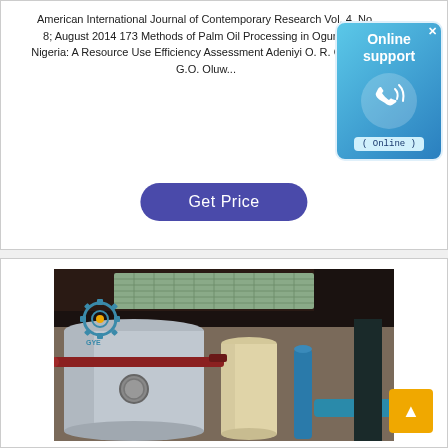American International Journal of Contemporary Research Vol. 4, No. 8; August 2014 173 Methods of Palm Oil Processing in Ogun state, Nigeria: A Resource Use Efficiency Assessment Adeniyi O. R. Ogunsola G.O. Oluw...
[Figure (other): Online support badge: blue rounded rectangle with 'Online support' text, phone icon, and '( Online )' label]
[Figure (other): Blue button labeled 'Get Price' with rounded pill shape and dark blue/purple background]
[Figure (photo): Industrial palm oil processing equipment: large cylindrical tanks and pipes in a factory setting, with a gear/logo watermark overlay]